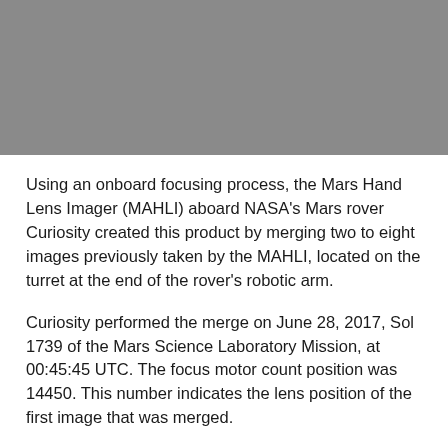[Figure (photo): Gray/dark photograph area at the top of the page, partially visible (cropped), appears to be a Mars surface image taken by MAHLI camera.]
Using an onboard focusing process, the Mars Hand Lens Imager (MAHLI) aboard NASA's Mars rover Curiosity created this product by merging two to eight images previously taken by the MAHLI, located on the turret at the end of the rover's robotic arm.
Curiosity performed the merge on June 28, 2017, Sol 1739 of the Mars Science Laboratory Mission, at 00:45:45 UTC. The focus motor count position was 14450. This number indicates the lens position of the first image that was merged.
The onboard focus merge is sometimes performed on images acquired the same sol as the merge, and sometimes uses pictures obtained on an earlier sol. Focus merging is a method to make a composite of images of the same target acquired at different focus...